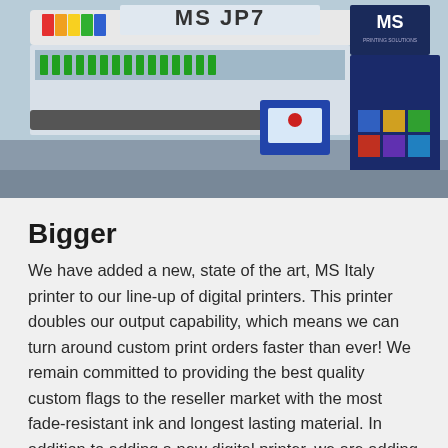[Figure (photo): Industrial large-format digital printer labeled 'MS JP7' with MS Printing Solutions branding. The machine is white and blue, showing inkjet print heads and a blue cabinet with colorful square panels on the right side.]
Bigger
We have added a new, state of the art, MS Italy printer to our line-up of digital printers. This printer doubles our output capability, which means we can turn around custom print orders faster than ever! We remain committed to providing the best quality custom flags to the reseller market with the most fade-resistant ink and longest lasting material. In addition to adding a new digital printer, we are adding new sewing machines to support